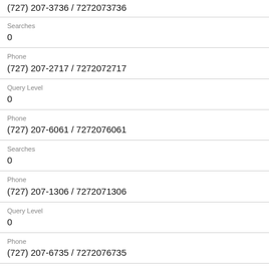(727) 207-3736 / 7272073736
Searches
0
Phone
(727) 207-2717 / 7272072717
Query Level
0
Phone
(727) 207-6061 / 7272076061
Searches
0
Phone
(727) 207-1306 / 7272071306
Query Level
0
Phone
(727) 207-6735 / 7272076735
Searches
2